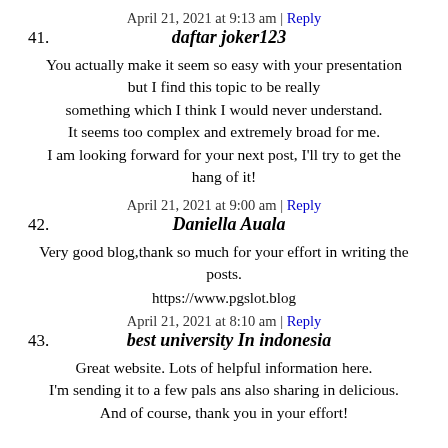April 21, 2021 at 9:13 am | Reply
41. daftar joker123
You actually make it seem so easy with your presentation but I find this topic to be really something which I think I would never understand. It seems too complex and extremely broad for me. I am looking forward for your next post, I'll try to get the hang of it!
April 21, 2021 at 9:00 am | Reply
42. Daniella Auala
Very good blog,thank so much for your effort in writing the posts.
https://www.pgslot.blog
April 21, 2021 at 8:10 am | Reply
43. best university In indonesia
Great website. Lots of helpful information here. I'm sending it to a few pals ans also sharing in delicious. And of course, thank you in your effort!